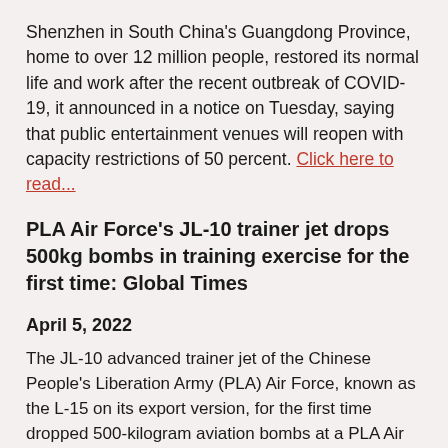Shenzhen in South China's Guangdong Province, home to over 12 million people, restored its normal life and work after the recent outbreak of COVID-19, it announced in a notice on Tuesday, saying that public entertainment venues will reopen with capacity restrictions of 50 percent. Click here to read...
PLA Air Force's JL-10 trainer jet drops 500kg bombs in training exercise for the first time: Global Times
April 5, 2022
The JL-10 advanced trainer jet of the Chinese People's Liberation Army (PLA) Air Force, known as the L-15 on its export version, for the first time dropped 500-kilogram aviation bombs at a PLA Air Force academy in a training exercise, displaying the PLA Air Force's training plan for cadets to master ground attack and bombing early in their training program and the aircraft's outstanding capabilities, analysts